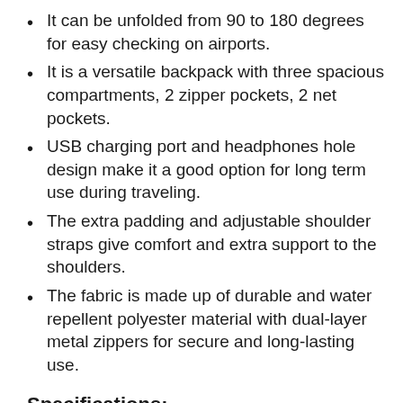It can be unfolded from 90 to 180 degrees for easy checking on airports.
It is a versatile backpack with three spacious compartments, 2 zipper pockets, 2 net pockets.
USB charging port and headphones hole design make it a good option for long term use during traveling.
The extra padding and adjustable shoulder straps give comfort and extra support to the shoulders.
The fabric is made up of durable and water repellent polyester material with dual-layer metal zippers for secure and long-lasting use.
Specifications: